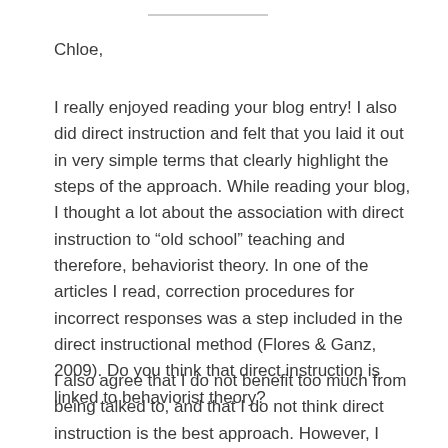Chloe,
I really enjoyed reading your blog entry! I also did direct instruction and felt that you laid it out in very simple terms that clearly highlight the steps of the approach. While reading your blog, I thought a lot about the association with direct instruction to “old school” teaching and therefore, behaviorist theory. In one of the articles I read, correction procedures for incorrect responses was a step included in the direct instructional method (Flores & Ganz, 2009). Do you think that direct instruction is linked to behaviorist theory?
I also agree that I do not benefit too much from being talked to, and that I do not think direct instruction is the best approach. However, I think it